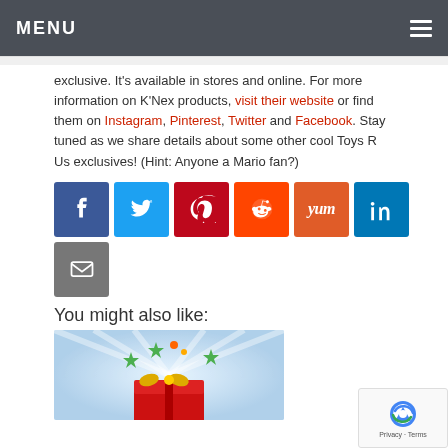MENU
exclusive. It's available in stores and online. For more information on K'Nex products, visit their website or find them on Instagram, Pinterest, Twitter and Facebook. Stay tuned as we share details about some other cool Toys R Us exclusives! (Hint: Anyone a Mario fan?)
[Figure (infographic): Social media sharing icons: Facebook (blue), Twitter (light blue), Pinterest (red), Reddit (orange), Yum (orange), LinkedIn (blue), Email/envelope (gray)]
You might also like:
[Figure (illustration): Gift box illustration with stars and confetti, partially visible]